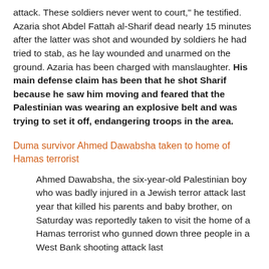attack. These soldiers never went to court," he testified.
Azaria shot Abdel Fattah al-Sharif dead nearly 15 minutes after the latter was shot and wounded by soldiers he had tried to stab, as he lay wounded and unarmed on the ground. Azaria has been charged with manslaughter. His main defense claim has been that he shot Sharif because he saw him moving and feared that the Palestinian was wearing an explosive belt and was trying to set it off, endangering troops in the area.
Duma survivor Ahmed Dawabsha taken to home of Hamas terrorist
Ahmed Dawabsha, the six-year-old Palestinian boy who was badly injured in a Jewish terror attack last year that killed his parents and baby brother, on Saturday was reportedly taken to visit the home of a Hamas terrorist who gunned down three people in a West Bank shooting attack last